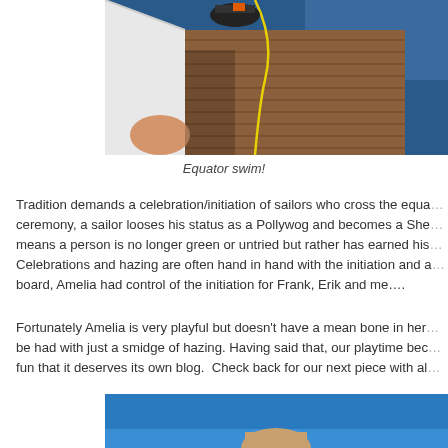[Figure (photo): Aerial/overhead view of a sailboat deck with teak wood planking, a yellow rope/line visible, and what appears to be sailing equipment. Blue water visible in background.]
Equator swim!
Tradition demands a celebration/initiation of sailors who cross the equa... ceremony, a sailor looses his status as a Pollywog and becomes a She... means a person is no longer green or untried but rather has earned his... Celebrations and hazing are often hand in hand with the initiation and a... board, Amelia had control of the initiation for Frank, Erik and me….
Fortunately Amelia is very playful but doesn't have a mean bone in her... be had with just a smidge of hazing. Having said that, our playtime bec... fun that it deserves its own blog.  Check back for our next piece with al...
[Figure (photo): Photo with bright blue sky/water background, partially visible at bottom of page.]